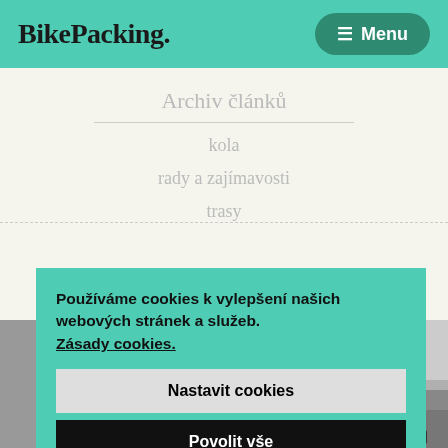BikePacking. Menu
Archiv článků
kola
rady a zajímavosti
trasy
13. 11. 2018
[Figure (photo): Article thumbnail with text: BLONDÝNA ZA POLÁRNÍM KRUHEM]
Používáme cookies k vylepšení našich webových stránek a služeb. Zásady cookies.
Nastavit cookies
Povolit vše
Odmitnout vše